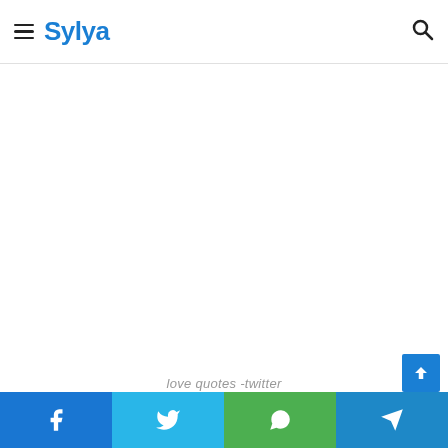sad quotes twitter
Sylya
love quotes -twitter
[Figure (screenshot): White blank content area between the site header and the caption, representing an advertisement or embedded image placeholder on the Sylya website page.]